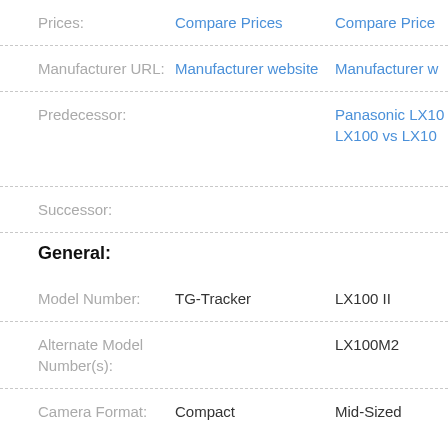| Field | Col1 | Col2 |
| --- | --- | --- |
| Prices: | Compare Prices | Compare Price |
| Manufacturer URL: | Manufacturer website | Manufacturer w |
| Predecessor: |  | Panasonic LX10 LX100 vs LX10 |
| Successor: |  |  |
| General: |  |  |
| Model Number: | TG-Tracker | LX100 II |
| Alternate Model Number(s): |  | LX100M2 |
| Camera Format: | Compact | Mid-Sized |